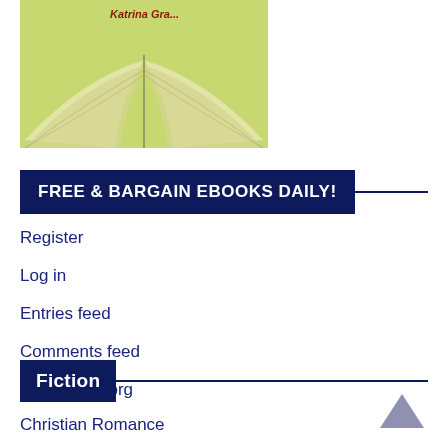[Figure (illustration): Open book with yellow-green pages spread open, partial view of book cover with text at top]
FREE & BARGAIN EBOOKS DAILY!
Register
Log in
Entries feed
Comments feed
WordPress.org
Fiction
Christian Romance